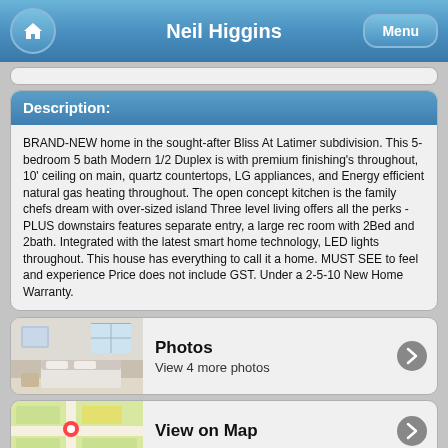Neil Higgins
Description:
BRAND-NEW home in the sought-after Bliss At Latimer subdivision. This 5-bedroom 5 bath Modern 1/2 Duplex is with premium finishing's throughout, 10' ceiling on main, quartz countertops, LG appliances, and Energy efficient natural gas heating throughout. The open concept kitchen is the family chefs dream with over-sized island Three level living offers all the perks - PLUS downstairs features separate entry, a large rec room with 2Bed and 2bath. Integrated with the latest smart home technology, LED lights throughout. This house has everything to call it a home. MUST SEE to feel and experience Price does not include GST. Under a 2-5-10 New Home Warranty.
[Figure (photo): Bedroom interior photo thumbnail]
Photos
View 4 more photos
[Figure (map): Map thumbnail showing property location]
View on Map